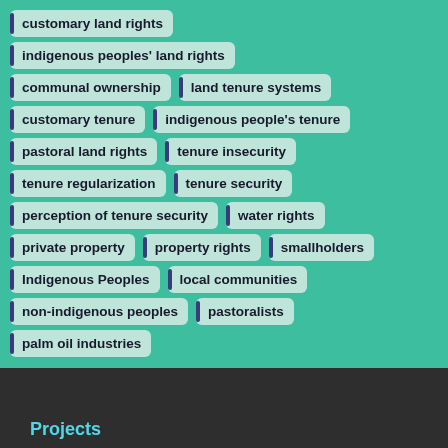customary land rights
indigenous peoples' land rights
communal ownership
land tenure systems
customary tenure
indigenous people's tenure
pastoral land rights
tenure insecurity
tenure regularization
tenure security
perception of tenure security
water rights
private property
property rights
smallholders
Indigenous Peoples
local communities
non-indigenous peoples
pastoralists
palm oil industries
Projects